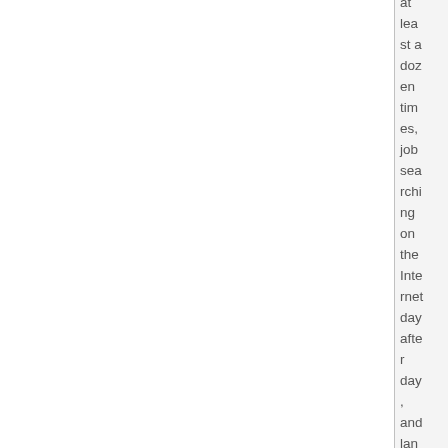at least a dozen times, job searching on the Internet day after day, and landing maybe two interviews